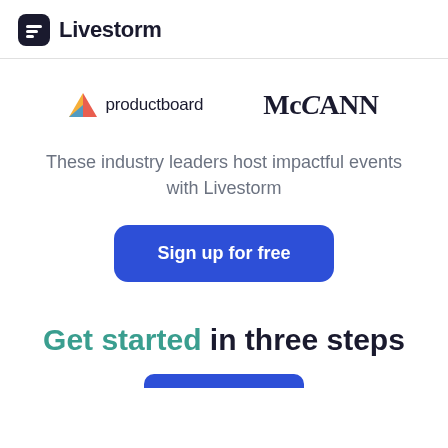Livestorm
[Figure (logo): productboard logo with arrow icon]
[Figure (logo): McCANN logo text]
These industry leaders host impactful events with Livestorm
Sign up for free
Get started in three steps
Sign up for free